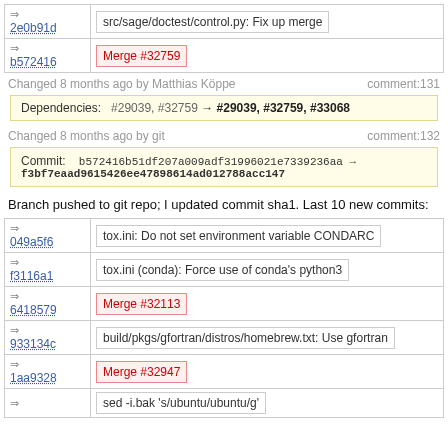| hash | message |
| --- | --- |
| 2e0b91d | src/sage/doctest/control.py: Fix up merge |
| b572416 | Merge #32759 |
Changed 8 months ago by Matthias Köppe   comment:131
Dependencies:  #29039, #32759 → #29039, #32759, #33068
Changed 8 months ago by git   comment:132
Commit: b572416b51df207a009adf31996021e7339236aa → f3bf7eaad9615426ee47898614ad012788acc147
Branch pushed to git repo; I updated commit sha1. Last 10 new commits:
| hash | message |
| --- | --- |
| 049a5f6 | tox.ini: Do not set environment variable CONDARC |
| f3116a1 | tox.ini (conda): Force use of conda's python3 |
| 6418579 | Merge #32113 |
| 933134c | build/pkgs/gfortran/distros/homebrew.txt: Use gfortran |
| 1aa9328 | Merge #32947 |
|  | sed -i.bak 's/ubuntu/ubuntu/g' |